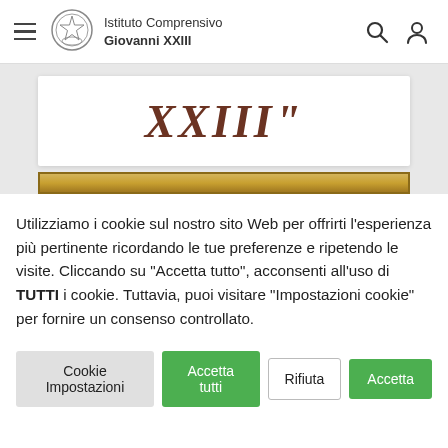Istituto Comprensivo Giovanni XXIII
[Figure (screenshot): School website header with logo, hamburger menu, site name 'Istituto Comprensivo Giovanni XXIII', and search/user icons]
[Figure (illustration): White box showing 'XXIII' in large dark-red italic serif font, followed by a golden decorative bar]
Utilizziamo i cookie sul nostro sito Web per offrirti l'esperienza più pertinente ricordando le tue preferenze e ripetendo le visite. Cliccando su "Accetta tutto", acconsenti all'uso di TUTTI i cookie. Tuttavia, puoi visitare "Impostazioni cookie" per fornire un consenso controllato.
Cookie Impostazioni
Accetta tutti
Rifiuta
Accetta